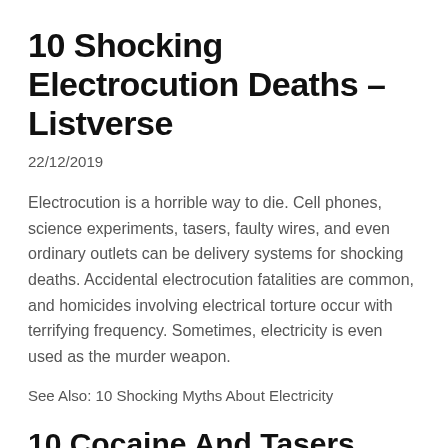10 Shocking Electrocution Deaths – Listverse
22/12/2019
Electrocution is a horrible way to die. Cell phones, science experiments, tasers, faulty wires, and even ordinary outlets can be delivery systems for shocking deaths. Accidental electrocution fatalities are common, and homicides involving electrical torture occur with terrifying frequency. Sometimes, electricity is even used as the murder weapon.
See Also: 10 Shocking Myths About Electricity
10 Cocaine And Tasers